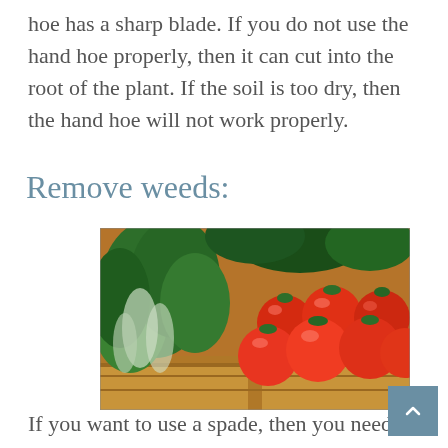hoe has a sharp blade. If you do not use the hand hoe properly, then it can cut into the root of the plant. If the soil is too dry, then the hand hoe will not work properly.
Remove weeds:
[Figure (photo): A wooden crate filled with bright red ripe tomatoes on the right side, and green leafy vegetables (herbs/greens) on the left side, photographed from a slightly elevated angle.]
If you want to use a spade, then you need to